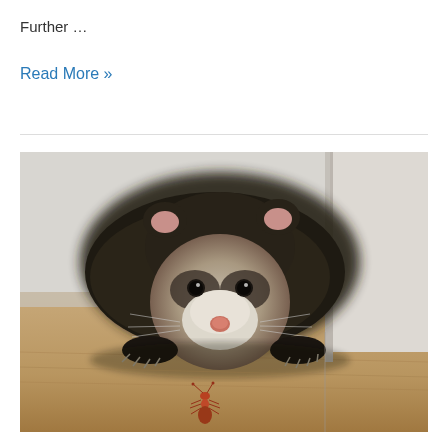Further …
Read More »
[Figure (photo): A ferret lying flat on a wooden floor, looking directly at the camera with a small red ant in the foreground. The ferret is dark-furred with a lighter face, next to a white wall corner.]